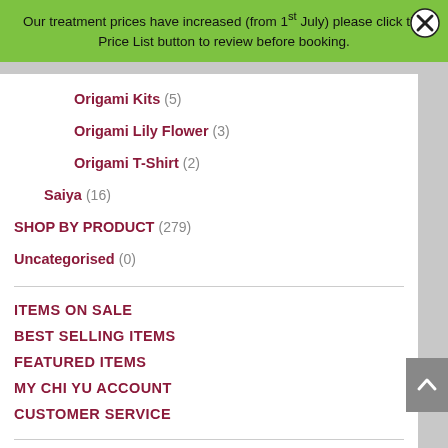Our treatment prices have increased (from 1st July) please click the Price List button to review before booking.
Origami Kits (5)
Origami Lily Flower (3)
Origami T-Shirt (2)
Saiya (16)
SHOP BY PRODUCT (279)
Uncategorised (0)
ITEMS ON SALE
BEST SELLING ITEMS
FEATURED ITEMS
MY CHI YU ACCOUNT
CUSTOMER SERVICE